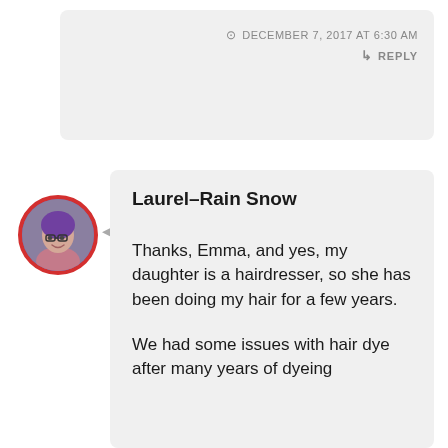DECEMBER 7, 2017 AT 6:30 AM
REPLY
[Figure (photo): Circular avatar photo of Laurel-Rain Snow with red border, showing a woman with purple hair and glasses]
Laurel-Rain Snow
Thanks, Emma, and yes, my daughter is a hairdresser, so she has been doing my hair for a few years.

We had some issues with hair dye after many years of dyeing